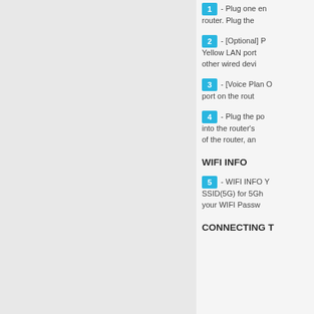1 - Plug one end of the Ethernet cable into the router. Plug the
2 - [Optional] P... Yellow LAN port... other wired devi...
3 - [Voice Plan O... port on the rout...
4 - Plug the pow... into the router's... of the router, an...
WIFI INFO
5 - WIFI INFO Y... SSID(5G) for 5Gh... your WIFI Passw...
CONNECTING T